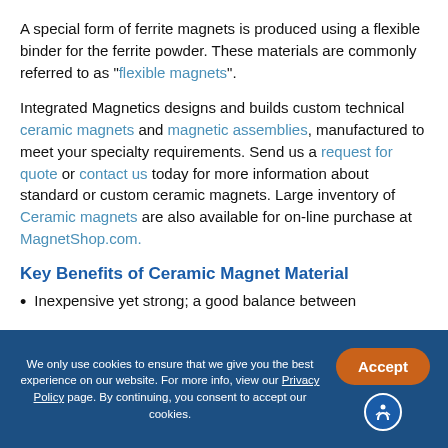A special form of ferrite magnets is produced using a flexible binder for the ferrite powder. These materials are commonly referred to as "flexible magnets".
Integrated Magnetics designs and builds custom technical ceramic magnets and magnetic assemblies, manufactured to meet your specialty requirements. Send us a request for quote or contact us today for more information about standard or custom ceramic magnets. Large inventory of Ceramic magnets are also available for on-line purchase at MagnetShop.com.
Key Benefits of Ceramic Magnet Material
Inexpensive yet strong; a good balance between
We only use cookies to ensure that we give you the best experience on our website. For more info, view our Privacy Policy page. By continuing, you consent to accept our cookies.